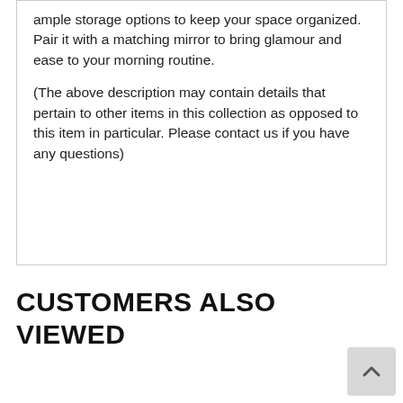ample storage options to keep your space organized. Pair it with a matching mirror to bring glamour and ease to your morning routine.

(The above description may contain details that pertain to other items in this collection as opposed to this item in particular. Please contact us if you have any questions)
CUSTOMERS ALSO VIEWED